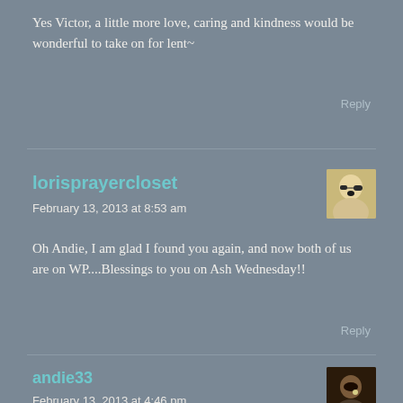Yes Victor, a little more love, caring and kindness would be wonderful to take on for lent~
Reply
lorisprayercloset
February 13, 2013 at 8:53 am
Oh Andie, I am glad I found you again, and now both of us are on WP....Blessings to you on Ash Wednesday!!
Reply
andie33
February 13, 2013 at 4:46 pm